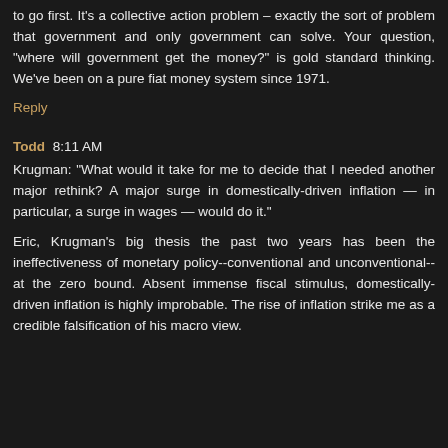to go first. It's a collective action problem – exactly the sort of problem that government and only government can solve. Your question, "where will government get the money?" is gold standard thinking. We've been on a pure fiat money system since 1971.
Reply
Todd 8:11 AM
Krugman: "What would it take for me to decide that I needed another major rethink? A major surge in domestically-driven inflation — in particular, a surge in wages — would do it."
Eric, Krugman's big thesis the past two years has been the ineffectiveness of monetary policy--conventional and unconventional--at the zero bound. Absent immense fiscal stimulus, domestically-driven inflation is highly improbable. The rise of inflation strike me as a credible falsification of his macro view.